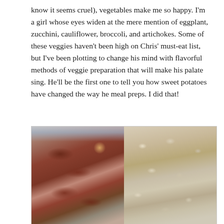know it seems cruel), vegetables make me so happy. I'm a girl whose eyes widen at the mere mention of eggplant, zucchini, cauliflower, broccoli, and artichokes. Some of these veggies haven't been high on Chris' must-eat list, but I've been plotting to change his mind with flavorful methods of veggie preparation that will make his palate sing. He'll be the first one to tell you how sweet potatoes have changed the way he meal preps. I did that!
[Figure (photo): Two side-by-side food photos: left shows raw chicken drumsticks on a foil-lined baking sheet with seasoning; right shows seasoned cauliflower florets in a baking dish.]